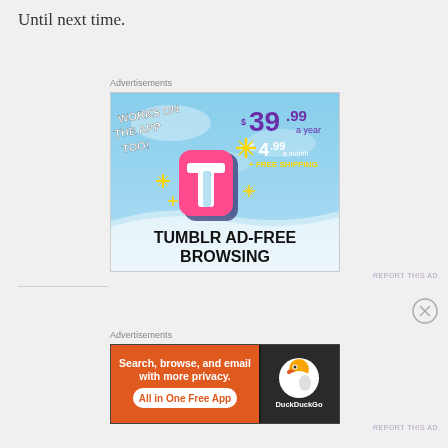Until next time.
Advertisements
[Figure (illustration): Tumblr Ad-Free Browsing advertisement showing the Tumblr 't' logo with sparkles on a light blue sky background, text: WORKS ON THE APP TOO!, $39.99 a year or $4.99 a month + FREE SHIPPING, TUMBLR AD-FREE BROWSING]
REPORT THIS AD
Advertisements
[Figure (illustration): DuckDuckGo advertisement with orange background on left side: Search, browse, and email with more privacy. All in One Free App. Dark background on right with DuckDuckGo logo.]
REPORT THIS AD